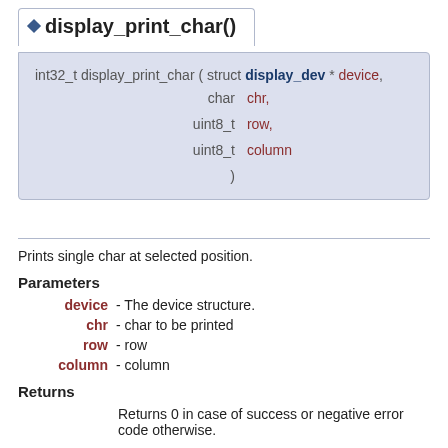display_print_char()
int32_t display_print_char ( struct display_dev * device, char chr, uint8_t row, uint8_t column )
Prints single char at selected position.
Parameters
device - The device structure.
chr - char to be printed
row - row
column - column
Returns
Returns 0 in case of success or negative error code otherwise.